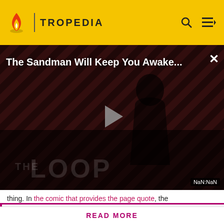TROPEDIA
[Figure (screenshot): Video player showing 'The Sandman Will Keep You Awake...' with a dark figure on a striped red and black background, play button in center, 'THE LOOP' text at bottom, NaN:NaN timestamp label]
thing. In the comic that provides the page quote, the
Before making a single edit, Tropedia EXPECTS our site policy and manual of style to be followed. Failure to do so may
READ MORE